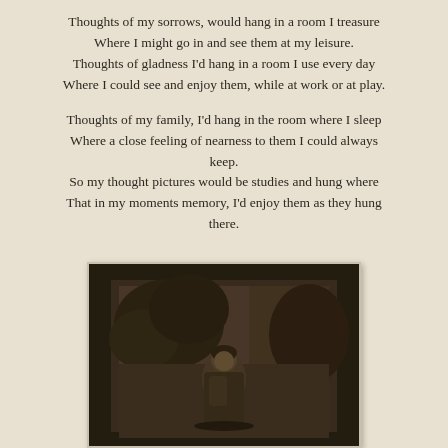Thoughts of my sorrows, would hang in a room I treasure
Where I might go in and see them at my leisure.
Thoughts of gladness I'd hang in a room I use every day
Where I could see and enjoy them, while at work or at play.

Thoughts of my family, I'd hang in the room where I sleep
Where a close feeling of nearness to them I could always keep.
So my thought pictures would be studies and hung where
That in my moments memory, I'd enjoy them as they hung there.
[Figure (photo): Old sepia/black-and-white photograph in a dark frame showing a person standing outdoors with trees in the background]